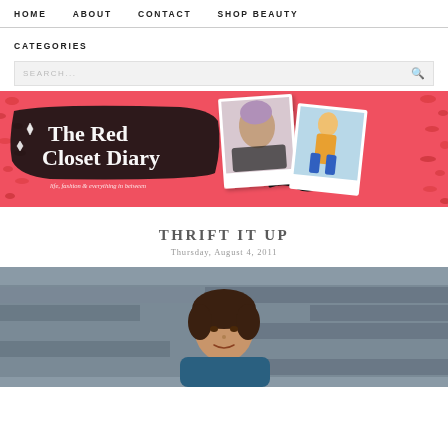HOME   ABOUT   CONTACT   SHOP BEAUTY
CATEGORIES
SEARCH...
[Figure (illustration): The Red Closet Diary blog banner with red background, leopard print edges, handwritten logo text, sparkle icons, and two polaroid-style photos of women]
THRIFT IT UP
Thursday, August 4, 2011
[Figure (photo): Photo of a young woman with dark hair sitting outdoors against a stone/concrete wall, wearing a blue top]